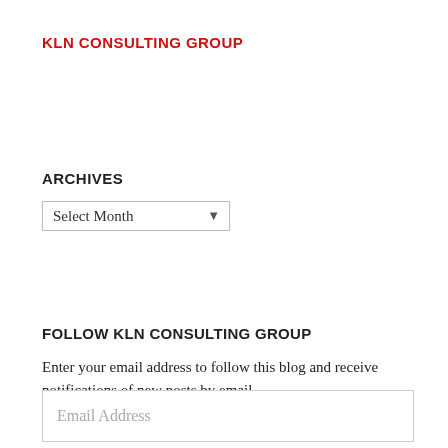KLN CONSULTING GROUP
ARCHIVES
Select Month
FOLLOW KLN CONSULTING GROUP
Enter your email address to follow this blog and receive notifications of new posts by email.
Email Address